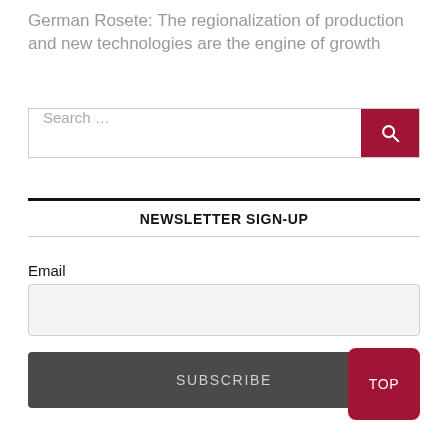German Rosete: The regionalization of production and new technologies are the engine of growth
Search ...
NEWSLETTER SIGN-UP
Email
SUBSCRIBE
TOP